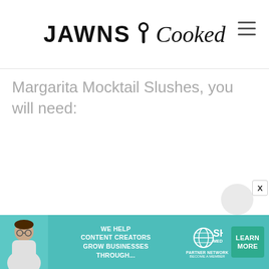JAWNS i Cooked
Margarita Mocktail Slushes, you will need:
[Figure (infographic): Advertisement banner for SHE Media Partner Network: 'We Help Content Creators Grow Businesses Through...' with Learn More button]